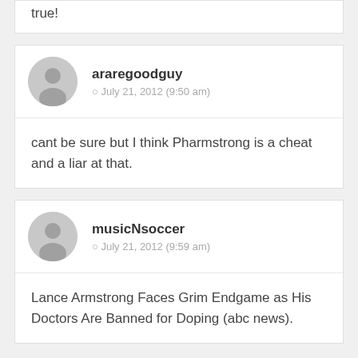true!
araregoodguy
July 21, 2012 (9:50 am)
cant be sure but I think Pharmstrong is a cheat and a liar at that.
musicNsoccer
July 21, 2012 (9:59 am)
Lance Armstrong Faces Grim Endgame as His Doctors Are Banned for Doping (abc news).